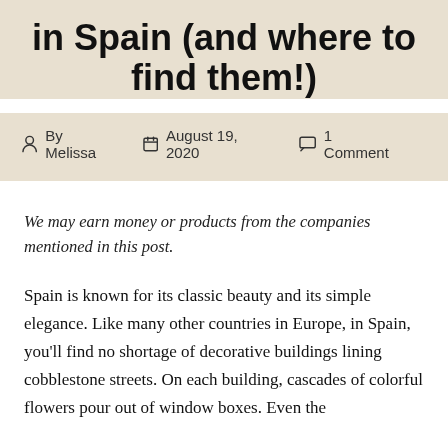in Spain (and where to find them!)
By Melissa   August 19, 2020   1 Comment
We may earn money or products from the companies mentioned in this post.
Spain is known for its classic beauty and its simple elegance. Like many other countries in Europe, in Spain, you'll find no shortage of decorative buildings lining cobblestone streets. On each building, cascades of colorful flowers pour out of window boxes. Even the